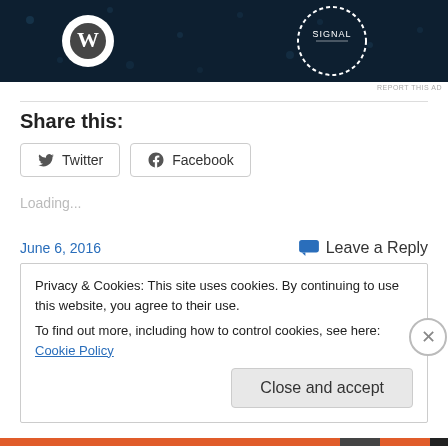[Figure (illustration): WordPress and Signal ad banner on dark navy background with decorative dots]
REPORT THIS AD
Share this:
Twitter  Facebook
Loading...
June 6, 2016
Leave a Reply
Privacy & Cookies: This site uses cookies. By continuing to use this website, you agree to their use.
To find out more, including how to control cookies, see here: Cookie Policy
Close and accept